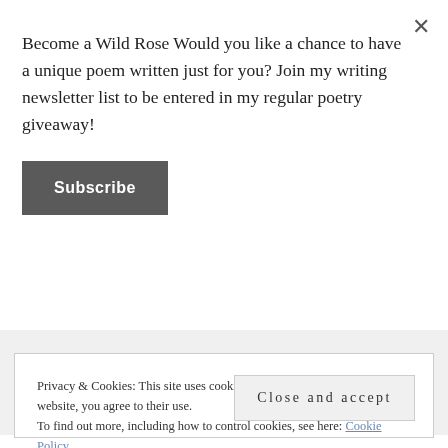Become a Wild Rose Would you like a chance to have a unique poem written just for you? Join my writing newsletter list to be entered in my regular poetry giveaway!
Subscribe
Email Address
Privacy & Cookies: This site uses cookies. By continuing to use this website, you agree to their use.
To find out more, including how to control cookies, see here: Cookie Policy
Close and accept